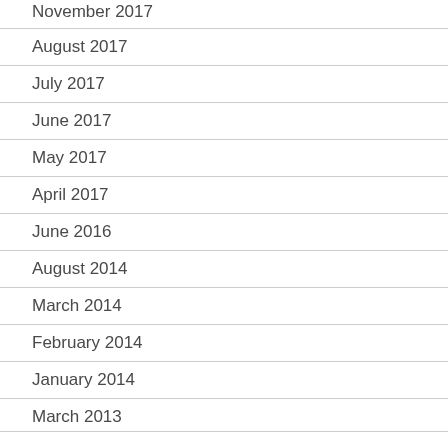November 2017
August 2017
July 2017
June 2017
May 2017
April 2017
June 2016
August 2014
March 2014
February 2014
January 2014
March 2013